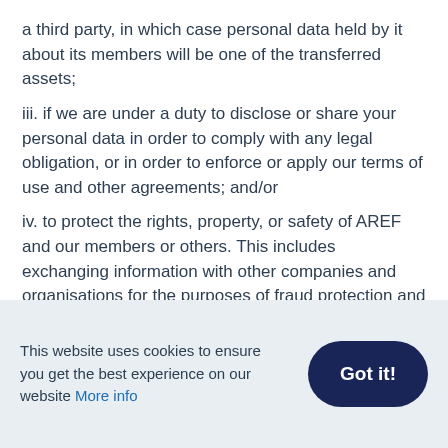a third party, in which case personal data held by it about its members will be one of the transferred assets;
iii. if we are under a duty to disclose or share your personal data in order to comply with any legal obligation, or in order to enforce or apply our terms of use and other agreements; and/or
iv. to protect the rights, property, or safety of AREF and our members or others. This includes exchanging information with other companies and organisations for the purposes of fraud protection and credit risk reduction.
This website uses cookies to ensure you get the best experience on our website More info